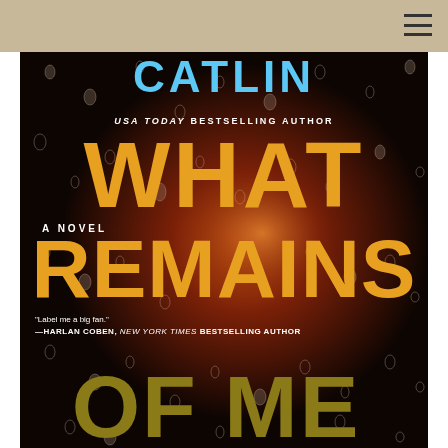[Figure (photo): Book cover for 'What Remains of Me' - A Novel by a USA Today Bestselling Author. Dark background with rain droplets on glass, orange/warm backlight glow. Title text in large yellow/gold letters. Author name partially visible at top in blue. Blurb from Harlan Coben, New York Times Bestselling Author: 'Label me a big fan.']
USA TODAY BESTSELLING AUTHOR
WHAT REMAINS OF ME
A NOVEL
"Label me a big fan." —HARLAN COBEN, NEW YORK TIMES BESTSELLING AUTHOR